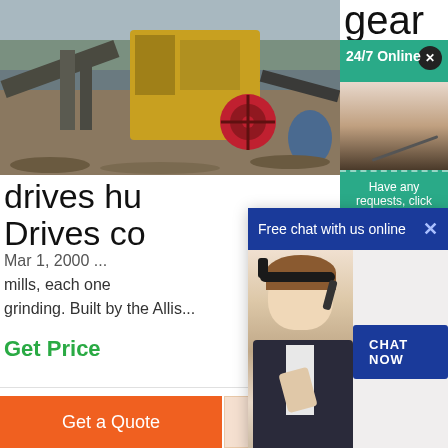[Figure (photo): Industrial mining/crushing machinery outdoor scene with yellow heavy equipment, conveyor belts, red gear/flywheel visible, overcast sky, mountainous background]
[Figure (photo): Partial right side image cut off, showing text 'gear' at top and a person wearing headset (customer service representative) against teal/green background with '24/7 Online' text]
drives hu Drives co
Mar 1, 2000 ...
mills, each one
grinding. Built by the Allis...
Get Price
[Figure (screenshot): Chat popup overlay with blue header 'Free chat with us online', close X button, photo of smiling female customer service agent wearing headset, and blue 'CHAT NOW' button]
Have any requests, click here.
Quotation
Get a Quote
WhatsApp